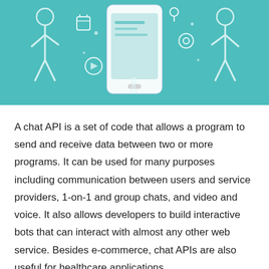[Figure (illustration): Teal/turquoise banner illustration showing two people (figures) flanking a large smartphone/tablet device with various floating UI icons and symbols around it, on a teal background.]
A chat API is a set of code that allows a program to send and receive data between two or more programs. It can be used for many purposes including communication between users and service providers, 1-on-1 and group chats, and video and voice. It also allows developers to build interactive bots that can interact with almost any other web service. Besides e-commerce, chat APIs are also useful for healthcare applications.
Some applications of chat APIs include real-time